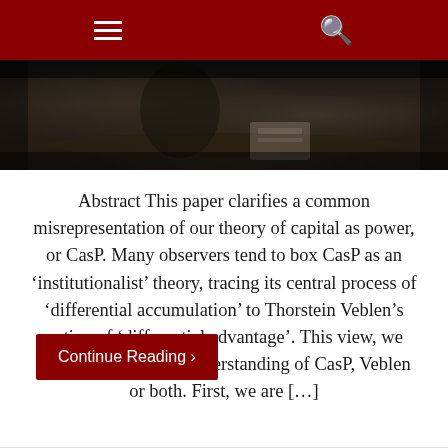[Figure (photo): Dark sepia-toned photograph of a person seated at a desk with papers, partial view]
Abstract This paper clarifies a common misrepresentation of our theory of capital as power, or CasP. Many observers tend to box CasP as an ‘institutionalist’ theory, tracing its central process of ‘differential accumulation’ to Thorstein Veblen’s notion of ‘differential advantage’. This view, we argue, betrays a misunderstanding of CasP, Veblen or both. First, we are […]
Continue Reading ›